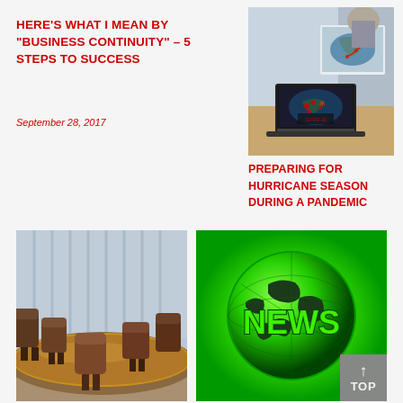HERE'S WHAT I MEAN BY "BUSINESS CONTINUITY" – 5 STEPS TO SUCCESS
September 28, 2017
[Figure (photo): Person working at a laptop showing COVID-19 map with hurricane tracking on a monitor in the background]
PREPARING FOR HURRICANE SEASON DURING A PANDEMIC
May 14, 2020
[Figure (photo): Conference room with large wooden oval table and brown leather executive chairs]
[Figure (photo): Green globe with NEWS text overlay on bright green background]